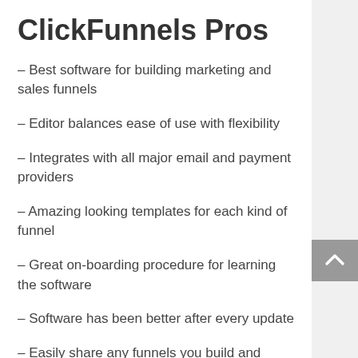ClickFunnels Pros
– Best software for building marketing and sales funnels
– Editor balances ease of use with flexibility
– Integrates with all major email and payment providers
– Amazing looking templates for each kind of funnel
– Great on-boarding procedure for learning the software
– Software has been better after every update
– Easily share any funnels you build and